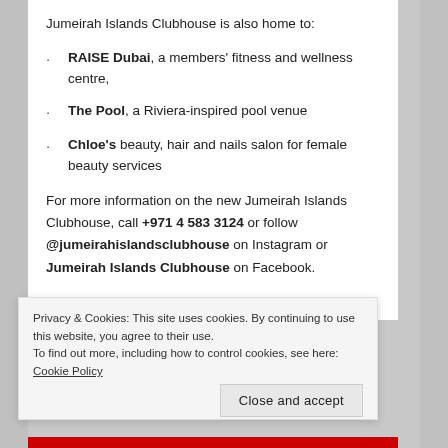Jumeirah Islands Clubhouse is also home to:
RAISE Dubai, a members' fitness and wellness centre,
The Pool, a Riviera-inspired pool venue
Chloe's beauty, hair and nails salon for female beauty services
For more information on the new Jumeirah Islands Clubhouse, call +971 4 583 3124 or follow @jumeirahislandsclubhouse on Instagram or Jumeirah Islands Clubhouse on Facebook.
Privacy & Cookies: This site uses cookies. By continuing to use this website, you agree to their use. To find out more, including how to control cookies, see here: Cookie Policy
Close and accept